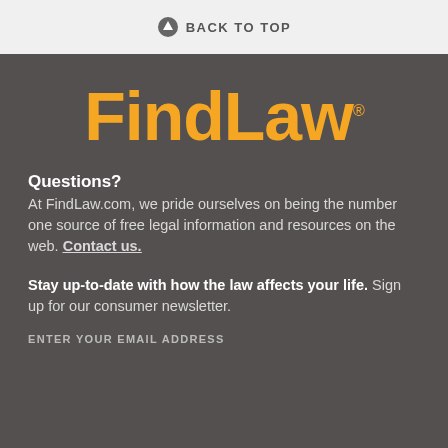[Figure (logo): Back to top button with upward arrow icon and text 'BACK TO TOP' on a light gray bar]
[Figure (logo): FindLaw logo in orange on dark gray background]
Questions?
At FindLaw.com, we pride ourselves on being the number one source of free legal information and resources on the web. Contact us.
Stay up-to-date with how the law affects your life. Sign up for our consumer newsletter.
ENTER YOUR EMAIL ADDRESS